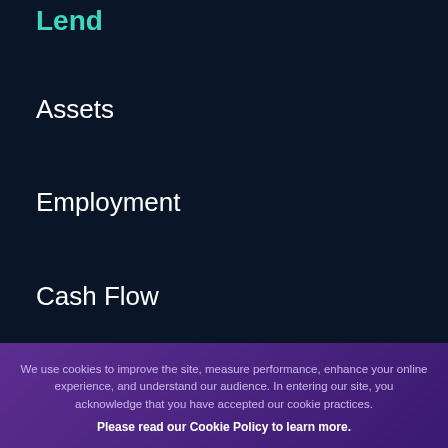Lend
Assets
Employment
Cash Flow
Income
Statements
Transactions
Scoring Attributes
We use cookies to improve the site, measure performance, enhance your online experience, and understand our audience. In entering our site, you acknowledge that you have accepted our cookie practices.
Please read our Cookie Policy to learn more.